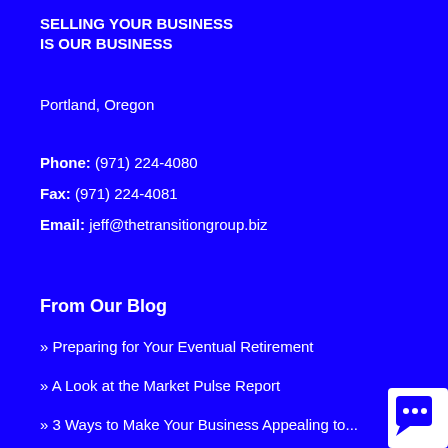SELLING YOUR BUSINESS IS OUR BUSINESS
Portland, Oregon
Phone: (971) 224-4080
Fax: (971) 224-4081
Email: jeff@thetransitiongroup.biz
From Our Blog
» Preparing for Your Eventual Retirement
» A Look at the Market Pulse Report
» 3 Ways to Make Your Business Appealing to...